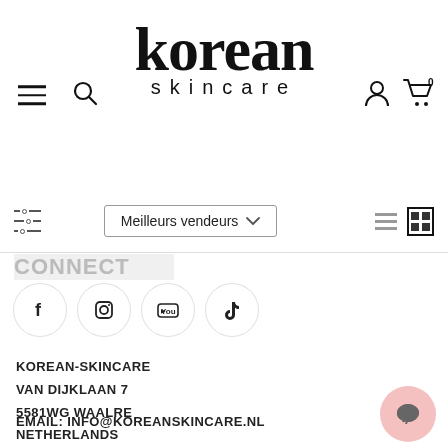korean skincare
Meilleurs vendeurs
CONNECT
[Figure (other): Social media icons: Facebook, Instagram, YouTube, TikTok]
KOREAN-SKINCARE
VAN DIJKLAAN 7
5581WG WAALRE
NETHERLANDS
EMAIL: INFO@KOREANSKINCARE.NL